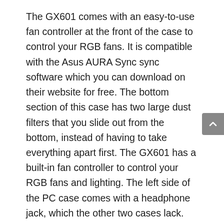The GX601 comes with an easy-to-use fan controller at the front of the case to control your RGB fans. It is compatible with the Asus AURA Sync sync software which you can download on their website for free. The bottom section of this case has two large dust filters that you slide out from the bottom, instead of having to take everything apart first. The GX601 has a built-in fan controller to control your RGB fans and lighting. The left side of the PC case comes with a headphone jack, which the other two cases lack. Asus is one of the best computer case manufacturers on the market, so you can expect their PC cases to be well-built and come with lots of features.
The Asus ROG Strix Helios GX601 has the best RGB case on the market that is worth every penny you spend